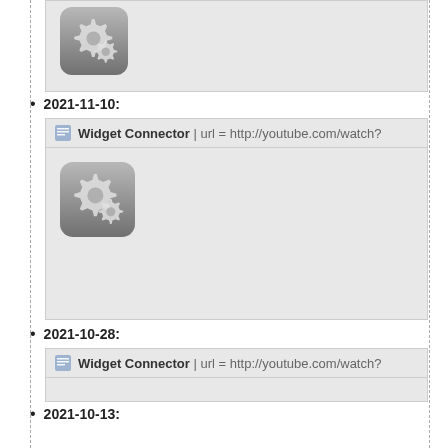[Figure (screenshot): Gear/settings icon in a rounded rectangle box, grey gradient background]
2021-11-10:
[Figure (screenshot): Widget Connector | url = http://youtube.com/watch? with gear icon below]
2021-10-28:
[Figure (screenshot): Widget Connector | url = http://youtube.com/watch? with gear icon below]
2021-10-13:
[Figure (screenshot): Widget Connector | url = http://youtube.com/watch? with gear icon partially visible]